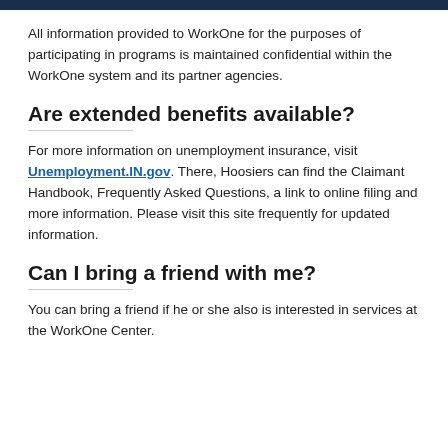All information provided to WorkOne for the purposes of participating in programs is maintained confidential within the WorkOne system and its partner agencies.
Are extended benefits available?
For more information on unemployment insurance, visit Unemployment.IN.gov. There, Hoosiers can find the Claimant Handbook, Frequently Asked Questions, a link to online filing and more information. Please visit this site frequently for updated information.
Can I bring a friend with me?
You can bring a friend if he or she also is interested in services at the WorkOne Center.